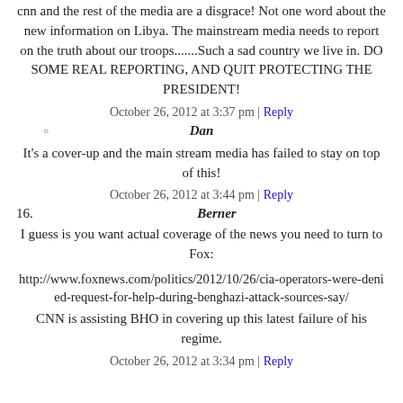cnn and the rest of the media are a disgrace! Not one word about the new information on Libya. The mainstream media needs to report on the truth about our troops.......Such a sad country we live in. DO SOME REAL REPORTING, AND QUIT PROTECTING THE PRESIDENT!
October 26, 2012 at 3:37 pm | Reply
Dan
It's a cover-up and the main stream media has failed to stay on top of this!
October 26, 2012 at 3:44 pm | Reply
16. Berner
I guess is you want actual coverage of the news you need to turn to Fox:
http://www.foxnews.com/politics/2012/10/26/cia-operators-were-denied-request-for-help-during-benghazi-attack-sources-say/
CNN is assisting BHO in covering up this latest failure of his regime.
October 26, 2012 at 3:34 pm | Reply